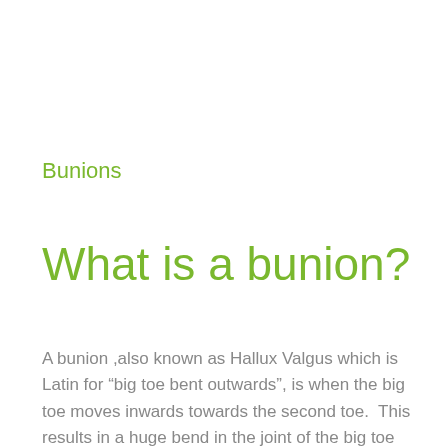Bunions
What is a bunion?
A bunion ,also known as Hallux Valgus which is Latin for “big toe bent outwards”, is when the big toe moves inwards towards the second toe.  This results in a huge bend in the joint of the big toe causing a...